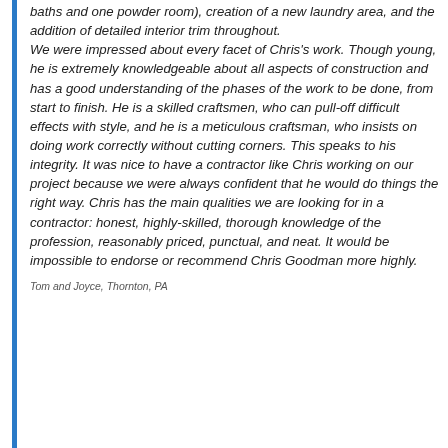baths and one powder room), creation of a new laundry area, and the addition of detailed interior trim throughout. We were impressed about every facet of Chris's work. Though young, he is extremely knowledgeable about all aspects of construction and has a good understanding of the phases of the work to be done, from start to finish. He is a skilled craftsmen, who can pull-off difficult effects with style, and he is a meticulous craftsman, who insists on doing work correctly without cutting corners. This speaks to his integrity. It was nice to have a contractor like Chris working on our project because we were always confident that he would do things the right way. Chris has the main qualities we are looking for in a contractor: honest, highly-skilled, thorough knowledge of the profession, reasonably priced, punctual, and neat. It would be impossible to endorse or recommend Chris Goodman more highly.
Tom and Joyce, Thornton, PA